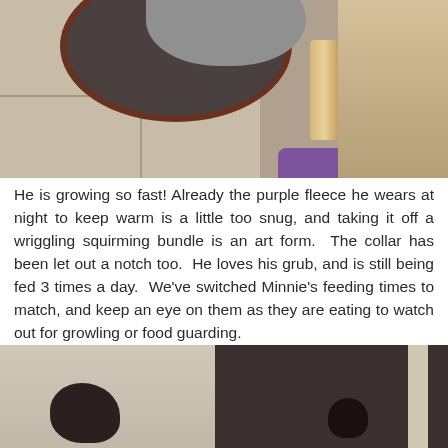[Figure (photo): Photo of a dog bed with gray fleece on a tile floor, with wooden furniture leg and purple item visible]
He is growing so fast! Already the purple fleece he wears at night to keep warm is a little too snug, and taking it off a wriggling squirming bundle is an art form.  The collar has been let out a notch too.  He loves his grub, and is still being fed 3 times a day.  We've switched Minnie's feeding times to match, and keep an eye on them as they are eating to watch out for growling or food guarding.
[Figure (photo): Two-panel photo showing a light-colored room/hallway on the left with a dark dog shape, and a dark room on the right with a small animal visible]